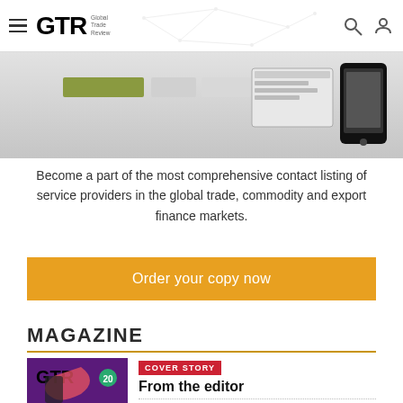GTR Global Trade Review
[Figure (screenshot): Partial view of a smartphone and tablet device showing GTR magazine/website content, with partner logos visible]
Become a part of the most comprehensive contact listing of service providers in the global trade, commodity and export finance markets.
Order your copy now
MAGAZINE
[Figure (photo): GTR magazine cover featuring a woman in black and white with colorful ribbon graphic and GTR branding with '20' badge]
COVER STORY
From the editor
View recent issue's contents